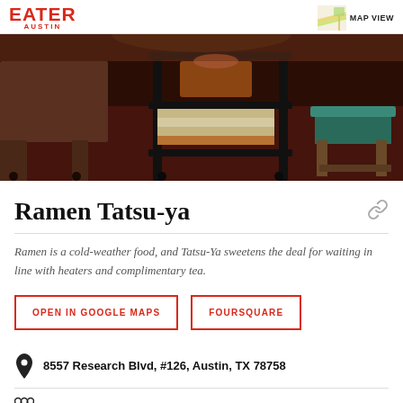EATER AUSTIN | MAP VIEW
[Figure (photo): Interior photo of a restaurant showing wooden furniture including stools with a teal cushion, a rolling metal shelf cart with books/menus, dark carpeted floor]
Ramen Tatsu-ya
Ramen is a cold-weather food, and Tatsu-Ya sweetens the deal for waiting in line with heaters and complimentary tea.
OPEN IN GOOGLE MAPS | FOURSQUARE
8557 Research Blvd, #126, Austin, TX 78758